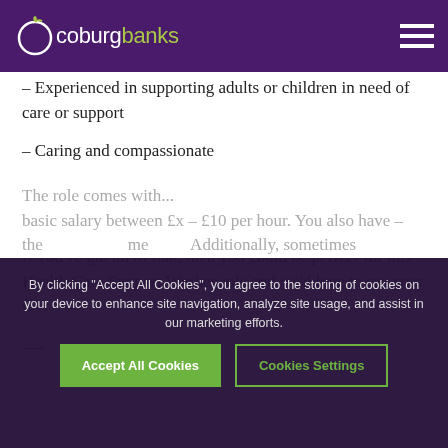coburg banks
– Experienced in supporting adults or children in need of care or support
– Caring and compassionate
– Able to travel to different locations in easy to reach areas that are close to where you live
If you've got all of that, then you could be perfect for this Health Care Support Worker role and we'd love to see your CV.
—-
By clicking "Accept All Cookies", you agree to the storing of cookies on your device to enhance site navigation, analyze site usage, and assist in our marketing efforts.
Accept All Cookies | Cookies Settings